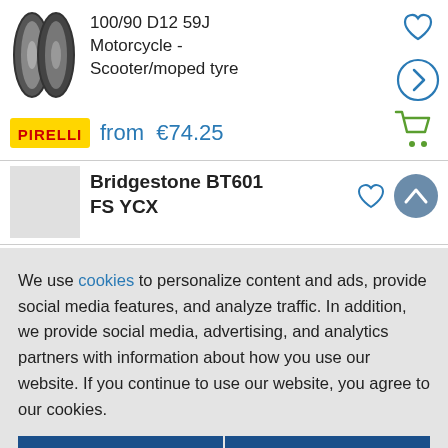[Figure (screenshot): Two motorcycle/scooter tyre product images side by side]
100/90 D12 59J Motorcycle - Scooter/moped tyre
from €74.25
[Figure (logo): Pirelli logo - yellow rectangle with PIRELLI text in red]
Bridgestone BT601 FS YCX
We use cookies to personalize content and ads, provide social media features, and analyze traffic. In addition, we provide social media, advertising, and analytics partners with information about how you use our website. If you continue to use our website, you agree to our cookies.
Edit setting
Accept